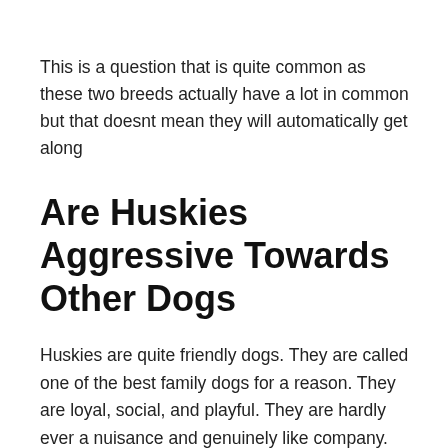This is a question that is quite common as these two breeds actually have a lot in common but that doesnt mean they will automatically get along
Are Huskies Aggressive Towards Other Dogs
Huskies are quite friendly dogs. They are called one of the best family dogs for a reason. They are loyal, social, and playful. They are hardly ever a nuisance and genuinely like company. Be it humans or dogs.
At certain times, however, a Husky may display signs of